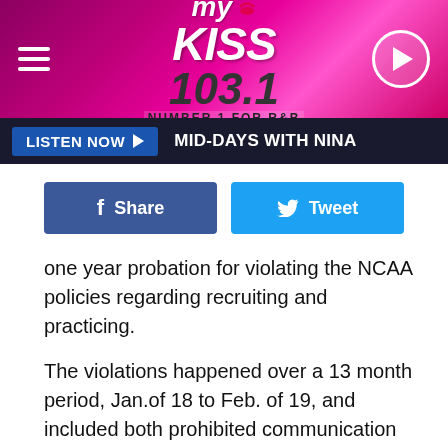[Figure (logo): My Kiss 103.1 Number 1 for R&B radio station logo on pink/magenta gradient banner with hamburger menu icon and play button]
LISTEN NOW ▶  MID-DAYS WITH NINA
[Figure (infographic): Facebook Share button (blue) and Twitter Tweet button (cyan) side by side]
one year probation for violating the NCAA policies regarding recruiting and practicing.
The violations happened over a 13 month period, Jan.of 18 to Feb. of 19, and included both prohibited communication with a recruit and extended practice time by seven hours a week.
In addition to the year long probation, Texas A&M will not be able to recruit any high school players through the end of the 2022 school year.
According to NCAA, here is the complete punishment.